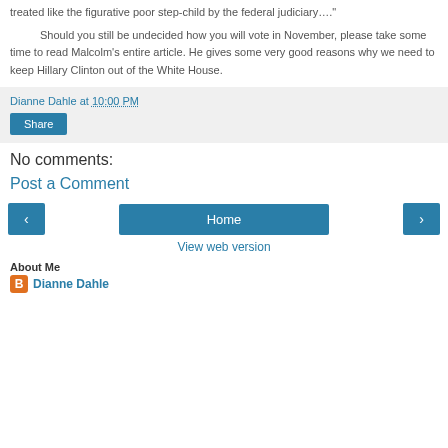treated like the figurative poor step-child by the federal judiciary…."
Should you still be undecided how you will vote in November, please take some time to read Malcolm's entire article. He gives some very good reasons why we need to keep Hillary Clinton out of the White House.
Dianne Dahle at 10:00 PM
Share
No comments:
Post a Comment
Home
View web version
About Me
Dianne Dahle